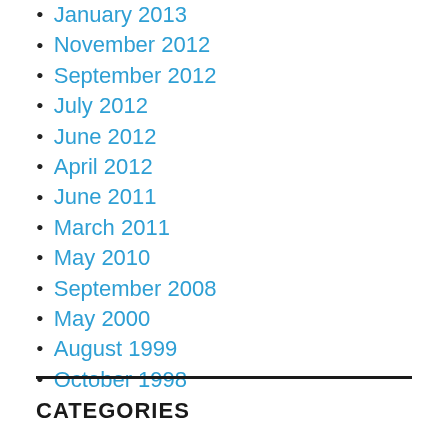January 2013
November 2012
September 2012
July 2012
June 2012
April 2012
June 2011
March 2011
May 2010
September 2008
May 2000
August 1999
October 1998
CATEGORIES